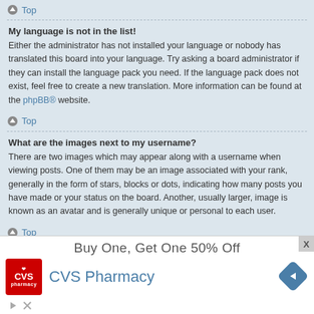Top
My language is not in the list!
Either the administrator has not installed your language or nobody has translated this board into your language. Try asking a board administrator if they can install the language pack you need. If the language pack does not exist, feel free to create a new translation. More information can be found at the phpBB® website.
Top
What are the images next to my username?
There are two images which may appear along with a username when viewing posts. One of them may be an image associated with your rank, generally in the form of stars, blocks or dots, indicating how many posts you have made or your status on the board. Another, usually larger, image is known as an avatar and is generally unique or personal to each user.
Top
[Figure (screenshot): CVS Pharmacy advertisement: Buy One, Get One 50% Off]